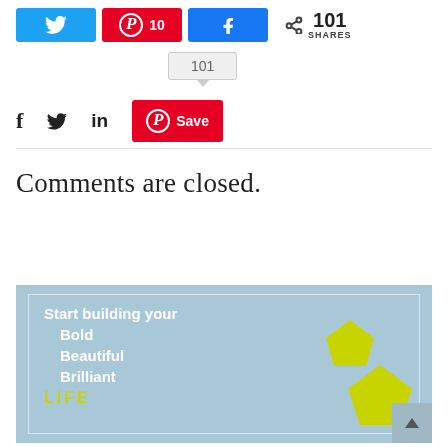[Figure (screenshot): Social share buttons row: Twitter button (blue), Pinterest button with count 10 (red), Facebook share button (blue), share icon with 101 SHARES total]
[Figure (infographic): Tooltip bubble showing count 101 with downward pointer arrow]
[Figure (screenshot): Social icons row: Facebook f, Twitter bird, LinkedIn in, and red Pinterest Save button]
Comments are closed.
[Figure (illustration): Promotional banner with light blue background, white border frame, white bold text reading 'Start building your Bold Beautiful Brilliant LIFE' with LIFE in yellow-green, and two yellow-green pentagon shapes on the right side]